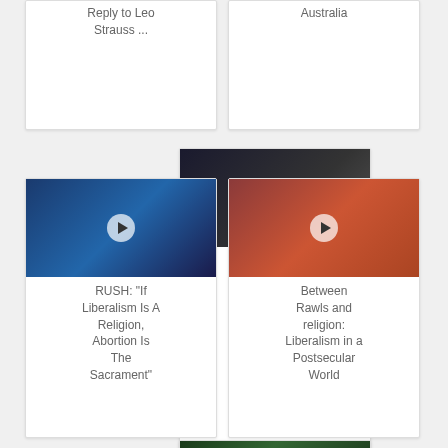Reply to Leo Strauss ...
Australia
[Figure (screenshot): Video thumbnail for Al Gore Genetics and Liberalism Vs Conservative Religious ...]
Al Gore Genetics and Liberalism Vs Conservative Religious ...
[Figure (screenshot): Video thumbnail for RUSH: "If Liberalism Is A Religion, Abortion Is The Sacrament"]
RUSH: "If Liberalism Is A Religion, Abortion Is The Sacrament"
[Figure (screenshot): Video thumbnail for Between Rawls and religion: Liberalism in a Postsecular World]
Between Rawls and religion: Liberalism in a Postsecular World
[Figure (screenshot): Video thumbnail partially visible at bottom - Preserving Our ...]